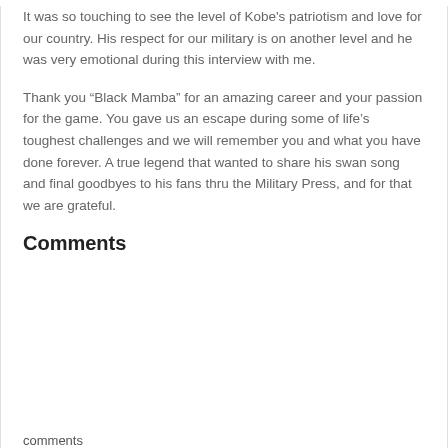It was so touching to see the level of Kobe's patriotism and love for our country. His respect for our military is on another level and he was very emotional during this interview with me.
Thank you “Black Mamba” for an amazing career and your passion for the game. You gave us an escape during some of life’s toughest challenges and we will remember you and what you have done forever. A true legend that wanted to share his swan song and final goodbyes to his fans thru the Military Press, and for that we are grateful.
Comments
comments